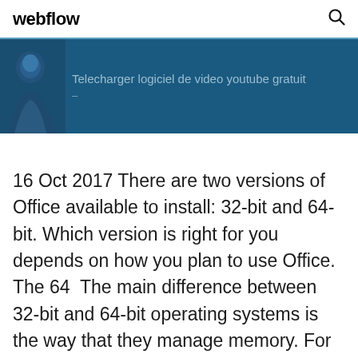webflow
[Figure (screenshot): Dark blue banner with a silhouette figure on the left and text 'Telecharger logiciel de video youtube gratuit' in light color]
16 Oct 2017 There are two versions of Office available to install: 32-bit and 64-bit. Which version is right for you depends on how you plan to use Office. The 64  The main difference between 32-bit and 64-bit operating systems is the way that they manage memory. For example, Windows XP 32-bit is limited to a total of 4 GB maximum of system